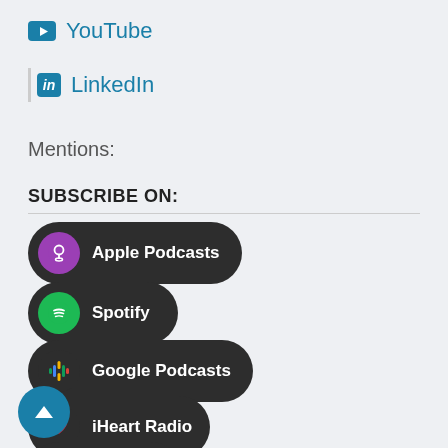YouTube
LinkedIn
Mentions:
SUBSCRIBE ON:
Apple Podcasts
Spotify
Google Podcasts
iHeart Radio
Pandora
Stitcher